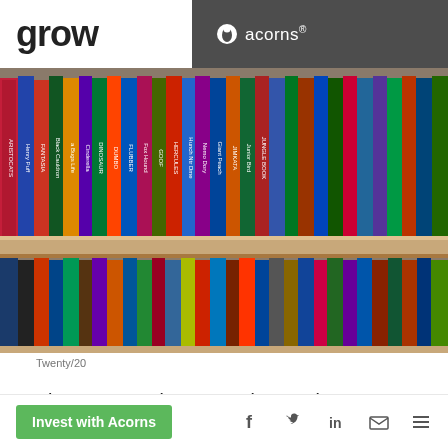grow   acorns®
[Figure (photo): Two shelves of VHS tapes including Disney movie titles such as Hercules, Jungle Book, Cinderella, Dinosaur, Flubber, and many others lined up spine-out on wooden shelves]
Twenty/20
The new year is a great time to do away with any clutter that you may have lying around. But don't be so quick to toss old and unused items in the donation bin...
Invest with Acorns